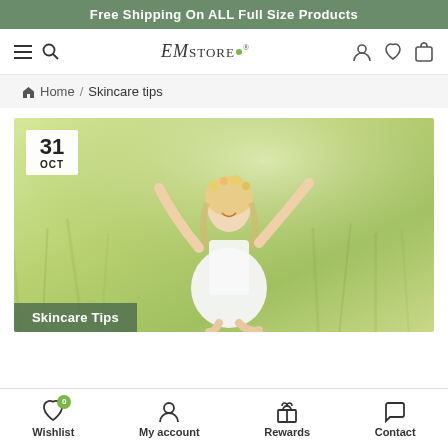Free Shipping On ALL Full Size Products
[Figure (logo): EMstore logo with green dot]
Home / Skincare tips
[Figure (photo): Woman with arms raised sitting in a sunny green field, with date badge showing 31 OCT and Skincare Tips label overlay]
Wishlist  My account  Rewards  Contact